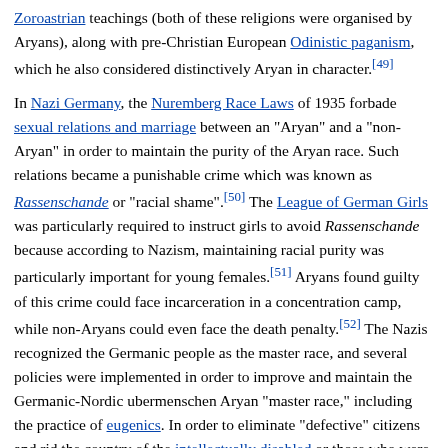Zoroastrian teachings (both of these religions were organised by Aryans), along with pre-Christian European Odinistic paganism, which he also considered distinctively Aryan in character.[49]

In Nazi Germany, the Nuremberg Race Laws of 1935 forbade sexual relations and marriage between an "Aryan" and a "non-Aryan" in order to maintain the purity of the Aryan race. Such relations became a punishable crime which was known as Rassenschande or "racial shame".[50] The League of German Girls was particularly required to instruct girls to avoid Rassenschande because according to Nazism, maintaining racial purity was particularly important for young females.[51] Aryans found guilty of this crime could face incarceration in a concentration camp, while non-Aryans could even face the death penalty.[52] The Nazis recognized the Germanic people as the master race, and several policies were implemented in order to improve and maintain the Germanic-Nordic ubermenschen Aryan "master race," including the practice of eugenics. In order to eliminate "defective" citizens and rid the country of the intellectually disabled or those who were born with genetic deficiencies, as well as those who were deemed racially inferior, the T-4 Euthanasia Program was administered by Karl Brandt, one of Hitler's personal physicians. Additionally, a program of compulsory sterilisation was also implemented and as a result of it, forced operations were performed on hundreds of